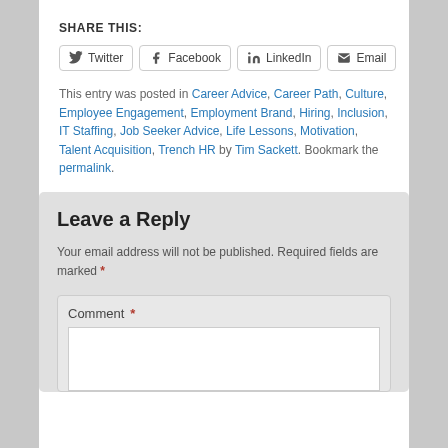SHARE THIS:
Twitter  Facebook  LinkedIn  Email
This entry was posted in Career Advice, Career Path, Culture, Employee Engagement, Employment Brand, Hiring, Inclusion, IT Staffing, Job Seeker Advice, Life Lessons, Motivation, Talent Acquisition, Trench HR by Tim Sackett. Bookmark the permalink.
Leave a Reply
Your email address will not be published. Required fields are marked *
Comment *